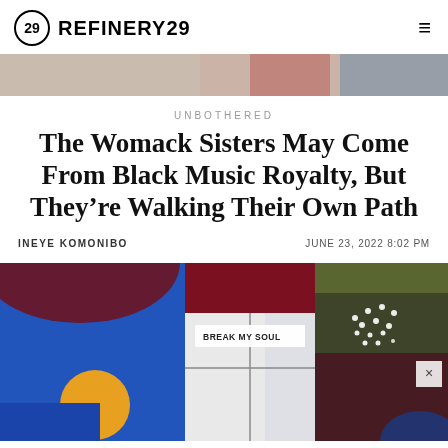REFINERY29
[Figure (photo): Partial hero image strip at top of article page showing colorful background]
UNBOTHERED
The Womack Sisters May Come From Black Music Royalty, But They’re Walking Their Own Path
INEYE KOMONIBO   JUNE 23, 2022 8:02 PM
[Figure (photo): Article lead image showing colorful abstract background with blue, maroon, yellow and olive sections, overlaid with a white card labeled BREAK MY SOUL and a photo of a person with rhinestone-adorned hair]